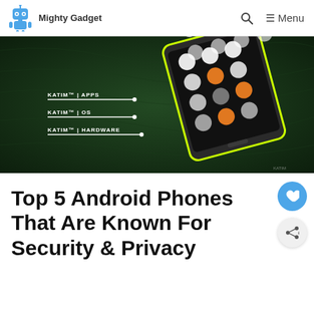Mighty Gadget
[Figure (photo): Dark green background with a smartphone (KATIM phone) shown at an angle, displaying a security-focused UI with orange and white circular app icons arranged in a grid. Labels on the left read: KATIM™ | APPS, KATIM™ | OS, KATIM™ | HARDWARE]
Top 5 Android Phones That Are Known For Security & Privacy